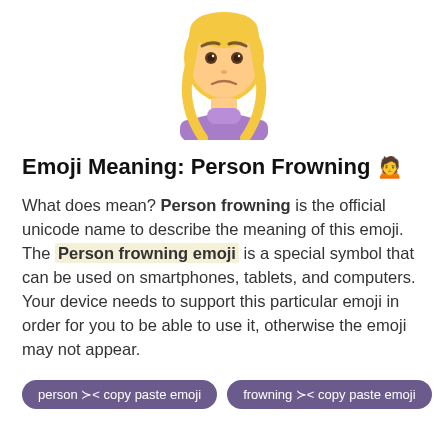[Figure (illustration): Large emoji of a person frowning with blonde hair and purple turtleneck sweater, showing a frowning/displeased expression]
Emoji Meaning: Person Frowning 🙍
What does mean? Person frowning is the official unicode name to describe the meaning of this emoji. The Person frowning emoji is a special symbol that can be used on smartphones, tablets, and computers. Your device needs to support this particular emoji in order for you to be able to use it, otherwise the emoji may not appear.
person ≻< copy paste emoji
frowning ≻< copy paste emoji